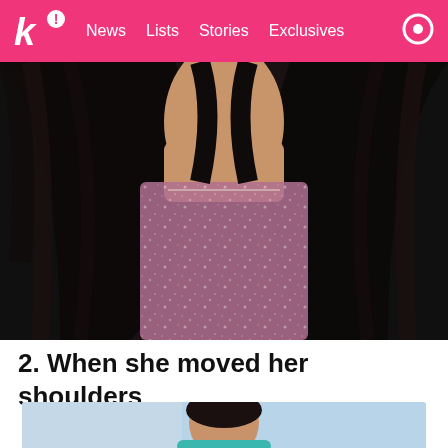k! News  Lists  Stories  Exclusives
[Figure (photo): Close-up photo of a person wearing a sparkly pink/mauve sleeveless top with black outerwear and long dark hair, shot from neck to waist]
2. When she moved her shoulders
[Figure (photo): Partial photo showing a person's head/shoulders, wearing teal/blue, with a light blue background]